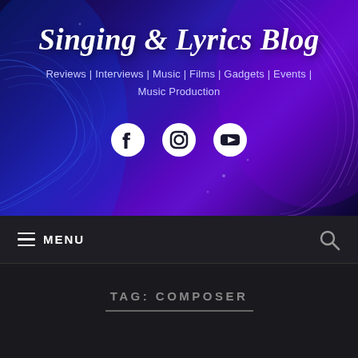[Figure (screenshot): Blog header banner with dark blue-purple gradient background and decorative wave lines. Contains the blog title 'Singing & Lyrics Blog' in white italic script, subtitle navigation categories, and social media icons for Facebook, Instagram, and YouTube.]
Singing & Lyrics Blog
Reviews | Interviews | Music | Films | Gadgets | Events | Music Production
≡ MENU
TAG: COMPOSER